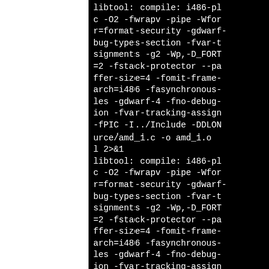[Figure (screenshot): Terminal/console output showing compiler invocations (libtool compile commands with gcc flags like -O2 -fwrapv -pipe -Wformat, -fstack-protector, -fPIC, etc.) for building amd_1.c on an i486-linux-gnu platform. Black background with white monospace text, left portion of page is white (cropped view).]